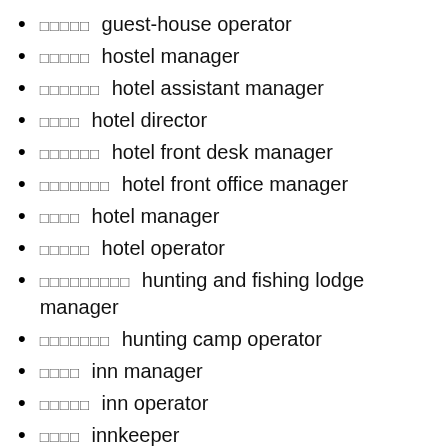□□□□□ guest-house operator
□□□□□ hostel manager
□□□□□□ hotel assistant manager
□□□□ hotel director
□□□□□□ hotel front desk manager
□□□□□□□ hotel front office manager
□□□□ hotel manager
□□□□□ hotel operator
□□□□□□□□□ hunting and fishing lodge manager
□□□□□□□ hunting camp operator
□□□□ inn manager
□□□□□ inn operator
□□□□ innkeeper
□□□□ lodging house manager